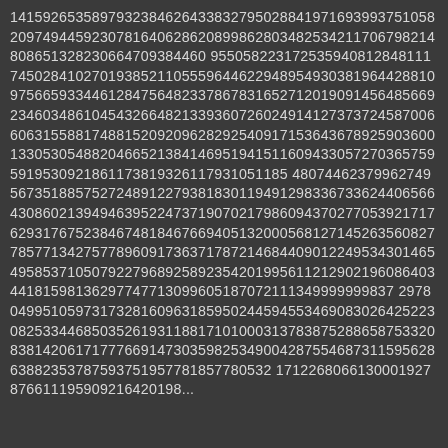14159265358979323846264338327950288419716939937510582097494459230781640628620899862803482534211706798214808651328230664709384460955058223172535940812848111745028410270193852110555964462294895493038196442881097566593344612847564823378678316527120190914564856692346034861045432664821339360726024914127373724587006606315588174881520920962829254091715364367892590360013305305488204665213841469519415116094330572703657595919530921861173819326117931051185480744623799627495673518857527248912279381830119491298336733624406566430860213949463952247371907021798609437027705392171762931767523846748184676694051320005681271452635608277857713427577896091736371787214684409012249534301465495853710507922796892589235420199561121290219608640344181598136297747713099605187072111349999999837297804995105973173281609631859502445945534690830264252230825334468503526193118817101000313783875288657533208381420617177669147303598253490428755468731159562863882353787593751957781857780532171226806613001927876611195909216420198...